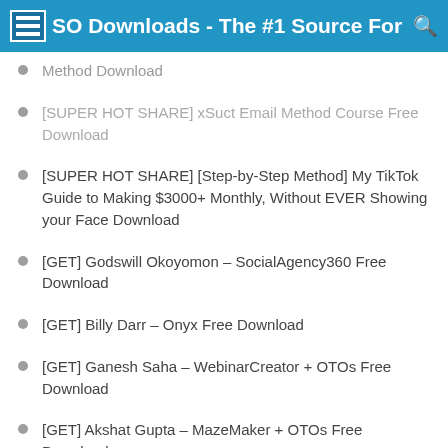WSO Downloads - The #1 Source For Lat
Method Download
[SUPER HOT SHARE] xSuct Email Method Course Free Download
[SUPER HOT SHARE] [Step-by-Step Method] My TikTok Guide to Making $3000+ Monthly, Without EVER Showing your Face Download
[GET] Godswill Okoyomon – SocialAgency360 Free Download
[GET] Billy Darr – Onyx Free Download
[GET] Ganesh Saha – WebinarCreator + OTOs Free Download
[GET] Akshat Gupta – MazeMaker + OTOs Free Download
[GET] Art Flair – VIDEOACE + OTOs Free Download
[SUPER HOT SHARE] Ason Jay Figueroa – High